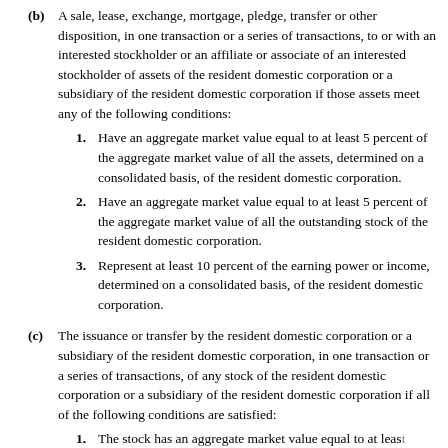(b) A sale, lease, exchange, mortgage, pledge, transfer or other disposition, in one transaction or a series of transactions, to or with an interested stockholder or an affiliate or associate of an interested stockholder of assets of the resident domestic corporation or a subsidiary of the resident domestic corporation if those assets meet any of the following conditions:
1. Have an aggregate market value equal to at least 5 percent of the aggregate market value of all the assets, determined on a consolidated basis, of the resident domestic corporation.
2. Have an aggregate market value equal to at least 5 percent of the aggregate market value of all the outstanding stock of the resident domestic corporation.
3. Represent at least 10 percent of the earning power or income, determined on a consolidated basis, of the resident domestic corporation.
(c) The issuance or transfer by the resident domestic corporation or a subsidiary of the resident domestic corporation, in one transaction or a series of transactions, of any stock of the resident domestic corporation or a subsidiary of the resident domestic corporation if all of the following conditions are satisfied:
1. The stock has an aggregate market value equal to at least 5 percent of the aggregate market value of all the